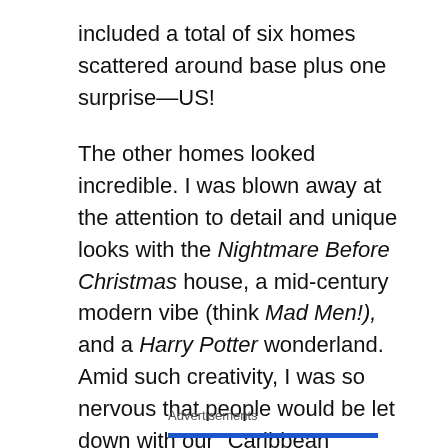included a total of six homes scattered around base plus one surprise—US!
The other homes looked incredible. I was blown away at the attention to detail and unique looks with the Nightmare Before Christmas house, a mid-century modern vibe (think Mad Men!), and a Harry Potter wonderland. Amid such creativity, I was so nervous that people would be let down with our “Caribbean Christmas” theme and wayyyyyy fewer decorations than our counterparts. I was also watching the weather obsessively and praying that high winds and rain would stay away because we planned an indoor/outdoor event.
Advertisements